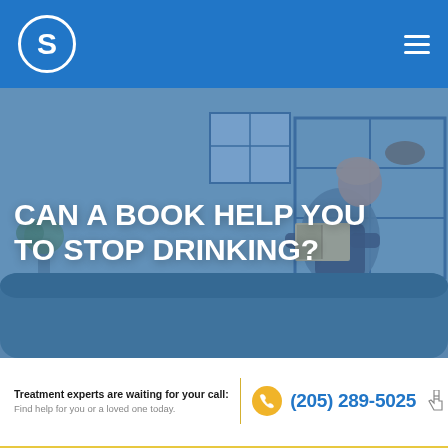S (logo)
[Figure (photo): Person sitting on a teal couch reading a book, interior room with shelving unit and plant in background, blue tint overlay]
CAN A BOOK HELP YOU TO STOP DRINKING?
Treatment experts are waiting for your call: Find help for you or a loved one today.
(205) 289-5025